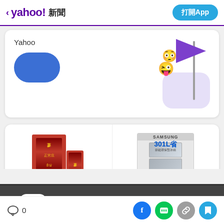< yahoo! 新聞   打開App
[Figure (screenshot): Yahoo promotional card with blue oval button and purple flag graphic with emoji faces]
Yahoo
[Figure (screenshot): Product card showing ginseng product at $780 and Samsung refrigerator at $12,900]
$780
$12,900
[Figure (screenshot): Yahoo APP banner with close button, Yahoo app icon, Yahoo APP text, APP subtext, and oval button]
Yahoo  APP
APP
0  [Facebook] [LINE] [Link] [Bookmark]